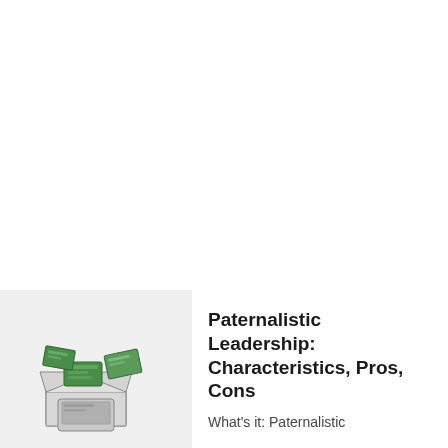[Figure (illustration): Illustration of stacked open boxes/packages with green paper money or documents inside, drawn in a simple line-art style with green accents, on a light grey background]
Paternalistic Leadership: Characteristics, Pros, Cons
What's it: Paternalistic